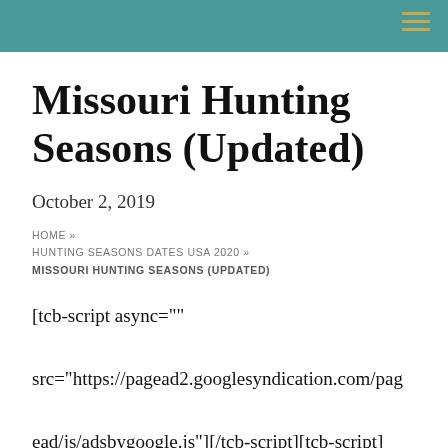Missouri Hunting Seasons (Updated)
October 2, 2019
HOME » HUNTING SEASONS DATES USA 2020 » MISSOURI HUNTING SEASONS (UPDATED)
[tcb-script async="" src="https://pagead2.googlesyndication.com/pagead/js/adsbygoogle.js"][/tcb-script][tcb-script] (adsbygoogle = window.adsbygoogle ||